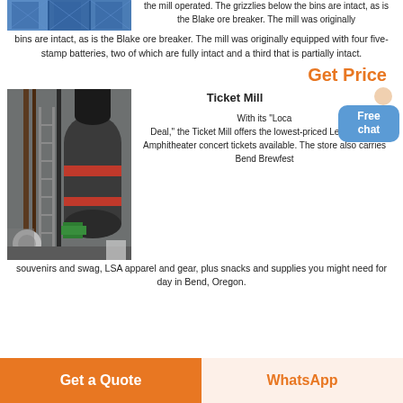[Figure (photo): Industrial machinery with blue metal frame structure]
the mill operated. The grizzlies below the bins are intact, as is the Blake ore breaker. The mill was originally equipped with four five-stamp batteries, two of which are fully intact and a third that is partially intact.
Get Price
[Figure (photo): Industrial mill equipment interior with large cylindrical machinery]
Ticket Mill
With its "Local Deal," the Ticket Mill offers the lowest-priced Les Schwab Amphitheater concert tickets available. The store also carries Bend Brewfest souvenirs and swag, LSA apparel and gear, plus snacks and supplies you might need for day in Bend, Oregon.
Get a Quote
WhatsApp